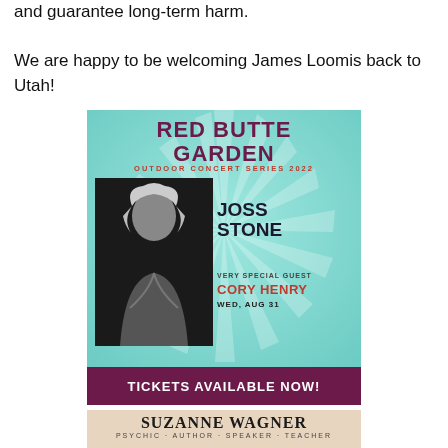and guarantee long-term harm.

We are happy to be welcoming James Loomis back to Utah!
[Figure (illustration): Red Butte Garden Outdoor Concert Series 2022 advertisement featuring Joss Stone with Very Special Guest Cory Henry on Wed, Aug 31. Tickets Available Now! Teal/mint background with sunburst rays, photo of female performer singing, purple header and footer bar.]
[Figure (illustration): Suzanne Wagner - Psychic, Author, Speaker, Teacher advertisement with beige/tan background.]